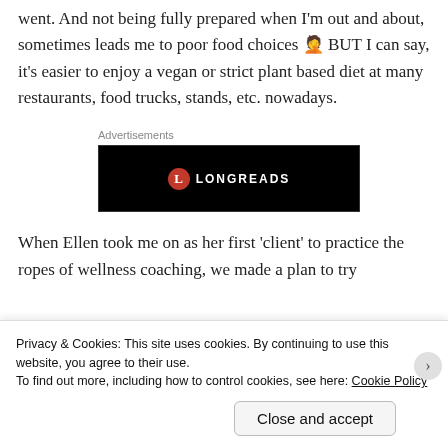went. And not being fully prepared when I'm out and about, sometimes leads me to poor food choices 🤦‍♀️ BUT I can say, it's easier to enjoy a vegan or strict plant based diet at many restaurants, food trucks, stands, etc. nowadays.
Advertisements
[Figure (logo): Longreads advertisement banner — black background with red circle logo containing letter L and text LONGREADS in white capital letters]
When Ellen took me on as her first 'client' to practice the ropes of wellness coaching, we made a plan to try
Privacy & Cookies: This site uses cookies. By continuing to use this website, you agree to their use.
To find out more, including how to control cookies, see here: Cookie Policy
Close and accept